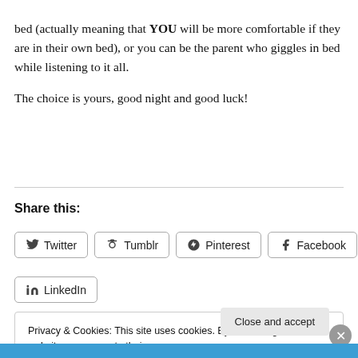bed (actually meaning that YOU will be more comfortable if they are in their own bed), or you can be the parent who giggles in bed while listening to it all.
The choice is yours, good night and good luck!
Share this:
Twitter  Tumblr  Pinterest  Facebook  LinkedIn
Privacy & Cookies: This site uses cookies. By continuing to use this website, you agree to their use.
To find out more, including how to control cookies, see here: Cookie Policy